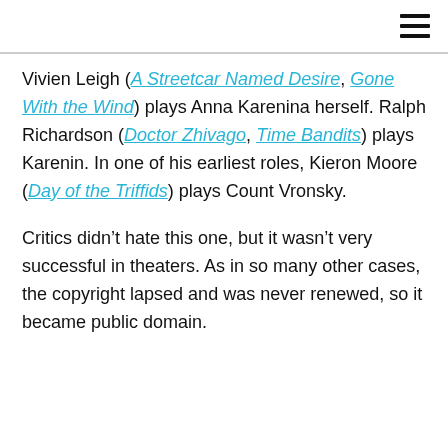Vivien Leigh (A Streetcar Named Desire, Gone With the Wind) plays Anna Karenina herself. Ralph Richardson (Doctor Zhivago, Time Bandits) plays Karenin. In one of his earliest roles, Kieron Moore (Day of the Triffids) plays Count Vronsky.
Critics didn’t hate this one, but it wasn’t very successful in theaters. As in so many other cases, the copyright lapsed and was never renewed, so it became public domain.